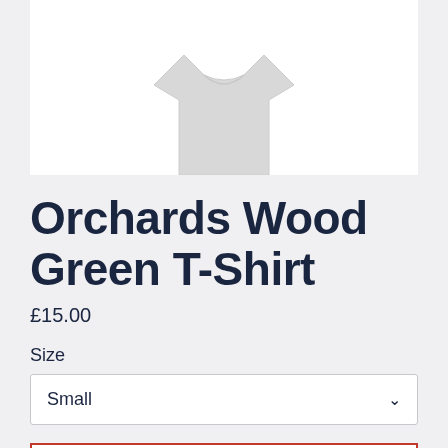[Figure (photo): Partial product photo of a white t-shirt on a white background, cropped at the top]
Orchards Wood Green T-Shirt
£15.00
Size
Small
ADD TO CART